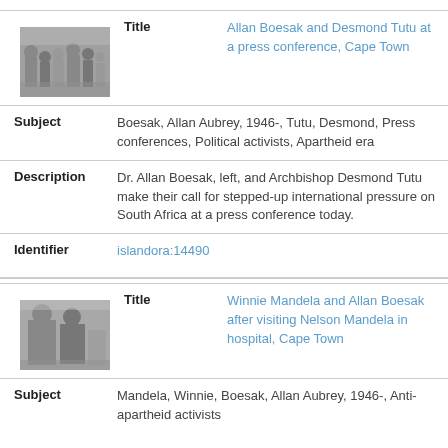[Figure (photo): Black and white photo of people at a press conference, Cape Town]
| Title | Allan Boesak and Desmond Tutu at a press conference, Cape Town |
| Subject | Boesak, Allan Aubrey, 1946-, Tutu, Desmond, Press conferences, Political activists, Apartheid era |
| Description | Dr. Allan Boesak, left, and Archbishop Desmond Tutu make their call for stepped-up international pressure on South Africa at a press conference today. |
| Identifier | islandora:14490 |
[Figure (photo): Black and white photo of Winnie Mandela and Allan Boesak]
| Title | Winnie Mandela and Allan Boesak after visiting Nelson Mandela in hospital, Cape Town |
| Subject | Mandela, Winnie, Boesak, Allan Aubrey, 1946-, Anti-apartheid activists |